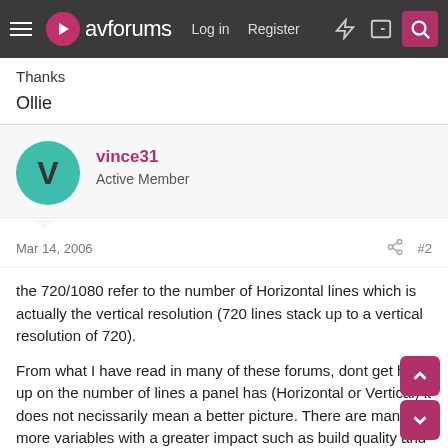avforums — Log in | Register
Thanks
Ollie
[Figure (other): User avatar for vince31 — teal circular avatar with letter V]
vince31 — Active Member
Mar 14, 2006   #2
the 720/1080 refer to the number of Horizontal lines which is actually the vertical resolution (720 lines stack up to a vertical resolution of 720).
From what I have read in many of these forums, dont get hung up on the number of lines a panel has (Horizontal or Vertical) it does not necissarily mean a better picture. There are many more variables with a greater impact such as build quality and the picture processing electronics. Im sure that the best advice is to see the panels in the flesh for yourself showing the material